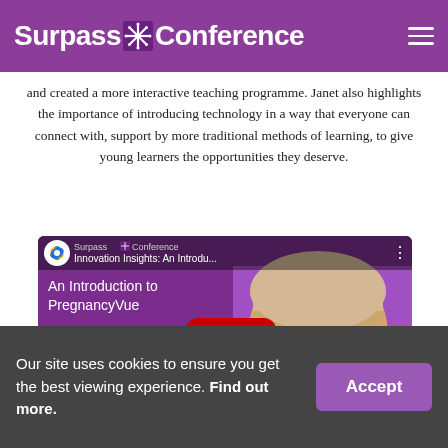Surpass Conference
and created a more interactive teaching programme. Janet also highlights the importance of introducing technology in a way that everyone can connect with, support by more traditional methods of learning, to give young learners the opportunities they deserve.
[Figure (screenshot): YouTube video thumbnail for 'Innovation Insights: An Introdu...' - An Introduction to PregnancyVue with Janet King from NCFE CACHE, showing a woman smiling on a purple background with a play button overlay.]
Our site uses cookies to ensure you get the best viewing experience. Find out more.